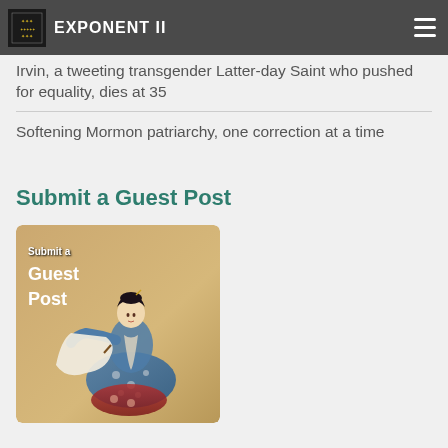Exponent II
Irvin, a tweeting transgender Latter-day Saint who pushed for equality, dies at 35
Softening Mormon patriarchy, one correction at a time
Submit a Guest Post
[Figure (illustration): Banner image for Submit a Guest Post feature, showing a Japanese-style painting of a woman in traditional robes with white fabric, with text overlay reading 'Submit a Guest Post']